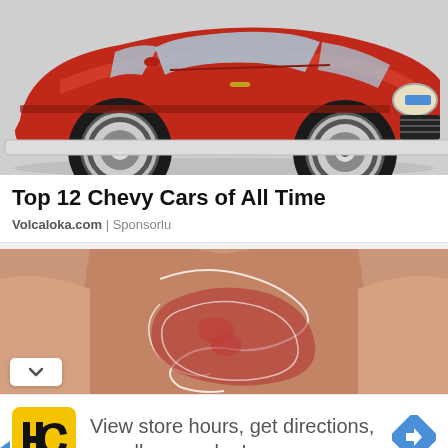[Figure (photo): Photo of a classic red Chevrolet Camaro muscle car, front three-quarter view, showing chrome wheels, large tires, grill, and headlights on a gray background.]
Top 12 Chevy Cars of All Time
Volcaloka.com | Sponsorlu
[Figure (photo): Photo of a person's midsection with an illustrated overlay showing digestive/gut anatomy in red and pink tones.]
[Figure (infographic): Bottom advertisement banner with HC salon logo (yellow square with HC text), text reading 'View store hours, get directions, or call your salon!' and a blue diamond navigation arrow icon.]